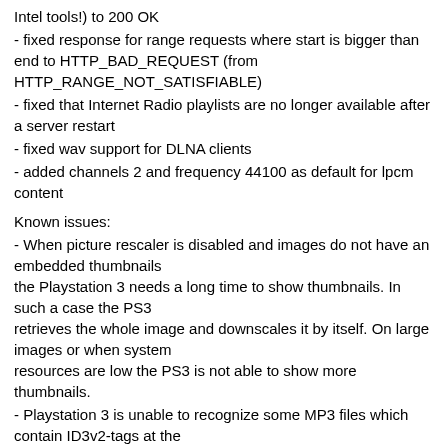Intel tools!) to 200 OK
- fixed response for range requests where start is bigger than end to HTTP_BAD_REQUEST (from HTTP_RANGE_NOT_SATISFIABLE)
- fixed that Internet Radio playlists are no longer available after a server restart
- fixed wav support for DLNA clients
- added channels 2 and frequency 44100 as default for lpcm content
Known issues:
- When picture rescaler is disabled and images do not have an embedded thumbnails
the Playstation 3 needs a long time to show thumbnails. In such a case the PS3
retrieves the whole image and downscales it by itself. On large images or when system
resources are low the PS3 is not able to show more thumbnails.
- Playstation 3 is unable to recognize some MP3 files which contain ID3v2-tags at the
beginning of the media file
What's new in Version 4.4.3.1
--------------------------------
+ DivX and WMV support for PS3 (4.4.3.1)
+ AAC support for PS3!